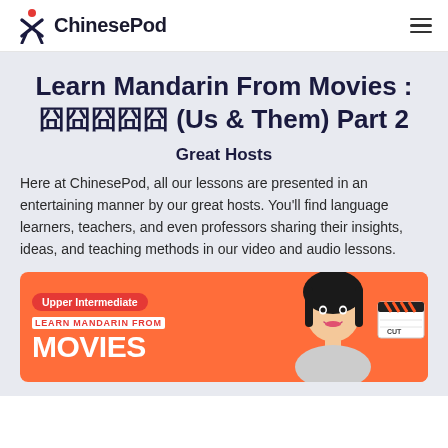ChinesePod
Learn Mandarin From Movies : 囧囧囧囧囧 (Us & Them) Part 2
Great Hosts
Here at ChinesePod, all our lessons are presented in an entertaining manner by our great hosts. You'll find language learners, teachers, and even professors sharing their insights, ideas, and teaching methods in our video and audio lessons.
[Figure (photo): Thumbnail image showing Upper Intermediate lesson card with red badge labeled 'Upper Intermediate', red text 'LEARN MANDARIN FROM', large white text 'MOVIES', a woman's face, and a film clapperboard on orange background]